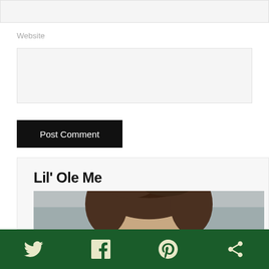Website
Post Comment
Lil’ Ole Me
[Figure (photo): Top portion of a person's head with brown hair, photographed outdoors with blurred background]
Social share bar with Twitter, Facebook, Pinterest, and more icons